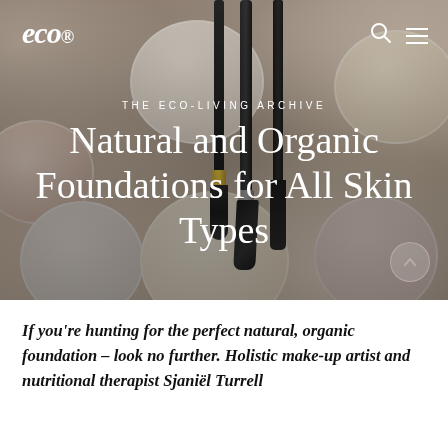[Figure (photo): Hero image showing mineral makeup powder jars in various shades (beige, pink, ivory) with makeup brushes (fan brush, blending brush, detail brush) laying across them on a light background.]
THE ECO-LIVING ARCHIVE
Natural and Organic Foundations for All Skin Types
If you're hunting for the perfect natural, organic foundation – look no further. Holistic make-up artist and nutritional therapist Sjaniël Turrell